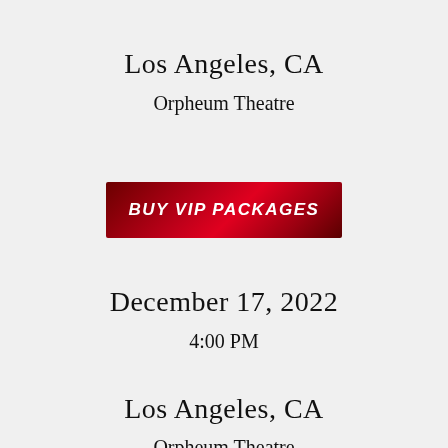Los Angeles, CA
Orpheum Theatre
[Figure (other): Red gradient button with bold italic white text reading BUY VIP PACKAGES]
December 17, 2022
4:00 PM
Los Angeles, CA
Orpheum Theatre